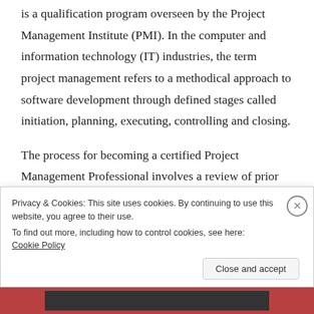is a qualification program overseen by the Project Management Institute (PMI). In the computer and information technology (IT) industries, the term project management refers to a methodical approach to software development through defined stages called initiation, planning, executing, controlling and closing.
The process for becoming a certified Project Management Professional involves a review of prior education and work experience followed by a written examination. Holders of the certification may use the
Privacy & Cookies: This site uses cookies. By continuing to use this website, you agree to their use.
To find out more, including how to control cookies, see here: Cookie Policy